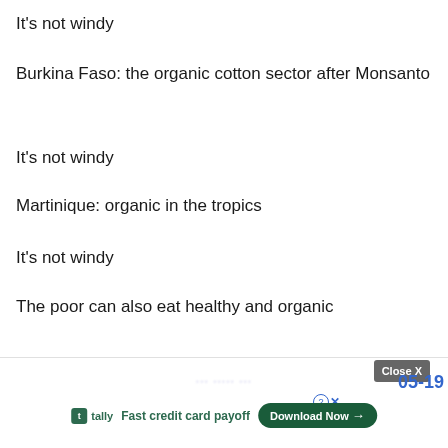It's not windy
Burkina Faso: the organic cotton sector after Monsanto
It's not windy
Martinique: organic in the tropics
It's not windy
The poor can also eat healthy and organic
Keywords:
Source: rfi
[Figure (screenshot): Advertisement bar at the bottom with Tally app logo, 'Fast credit card payoff' text, and a 'Download Now' button. Close X button visible on right side. Partially visible URL text and '05-19' text.]